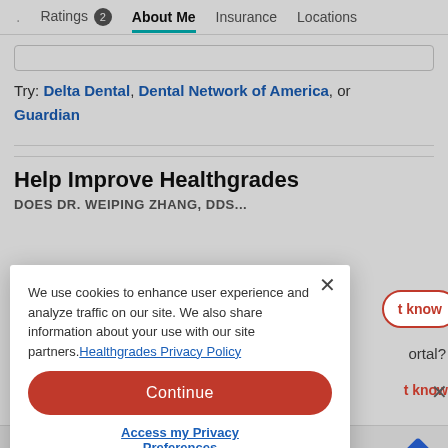· Ratings 2  About Me  Insurance  Locations
Try: Delta Dental, Dental Network of America, or Guardian
Help Improve Healthgrades
DOES DR. WEIPING ZHANG, DDS...
We use cookies to enhance user experience and analyze traffic on our site. We also share information about your use with our site partners. Healthgrades Privacy Policy
Continue
Access my Privacy Preferences